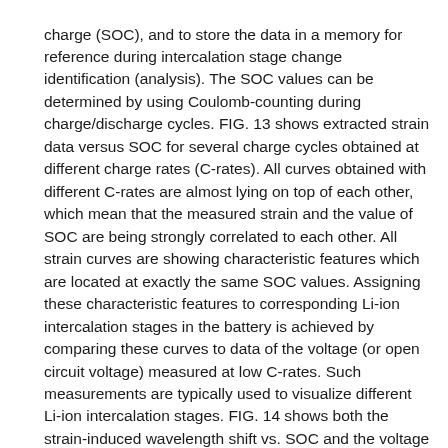charge (SOC), and to store the data in a memory for reference during intercalation stage change identification (analysis). The SOC values can be determined by using Coulomb-counting during charge/discharge cycles. FIG. 13 shows extracted strain data versus SOC for several charge cycles obtained at different charge rates (C-rates). All curves obtained with different C-rates are almost lying on top of each other, which mean that the measured strain and the value of SOC are being strongly correlated to each other. All strain curves are showing characteristic features which are located at exactly the same SOC values. Assigning these characteristic features to corresponding Li-ion intercalation stages in the battery is achieved by comparing these curves to data of the voltage (or open circuit voltage) measured at low C-rates. Such measurements are typically used to visualize different Li-ion intercalation stages. FIG. 14 shows both the strain-induced wavelength shift vs. SOC and the voltage vs. SOC for a C/25 charge cycle in comparison. Please note that the features in voltage data are typically only visible at very low C-rates (e.g., C/25). In contrast the characteristic features in the strain data can still be observed at larger C